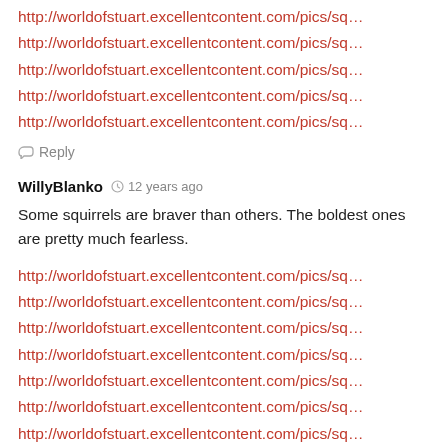http://worldofstuart.excellentcontent.com/pics/sq…
http://worldofstuart.excellentcontent.com/pics/sq…
http://worldofstuart.excellentcontent.com/pics/sq…
http://worldofstuart.excellentcontent.com/pics/sq…
http://worldofstuart.excellentcontent.com/pics/sq…
Reply
WillyBlanko  12 years ago
Some squirrels are braver than others. The boldest ones are pretty much fearless.
http://worldofstuart.excellentcontent.com/pics/sq…
http://worldofstuart.excellentcontent.com/pics/sq…
http://worldofstuart.excellentcontent.com/pics/sq…
http://worldofstuart.excellentcontent.com/pics/sq…
http://worldofstuart.excellentcontent.com/pics/sq…
http://worldofstuart.excellentcontent.com/pics/sq…
http://worldofstuart.excellentcontent.com/pics/sq…
http://worldofstuart.excellentcontent.com/pics/sq…